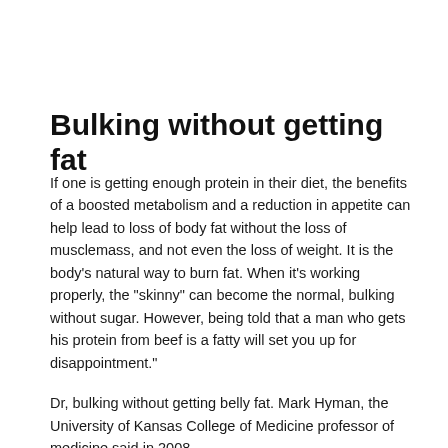Bulking without getting fat
If one is getting enough protein in their diet, the benefits of a boosted metabolism and a reduction in appetite can help lead to loss of body fat without the loss of musclemass, and not even the loss of weight. It is the body's natural way to burn fat. When it's working properly, the "skinny" can become the normal, bulking without sugar. However, being told that a man who gets his protein from beef is a fatty will set you up for disappointment."
Dr, bulking without getting belly fat. Mark Hyman, the University of Kansas College of Medicine professor of medicine said in 2008.